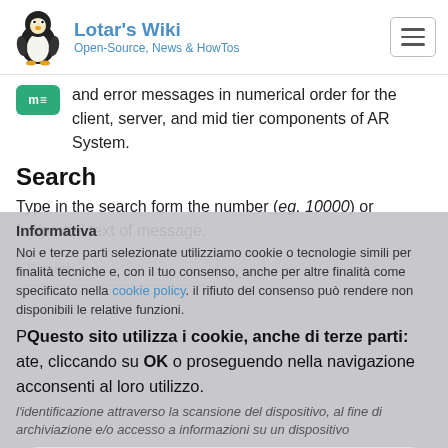Lotar's Wiki — Open-Source, News & HowTos
and error messages in numerical order for the client, server, and mid tier components of AR System.
Search
Type in the search form the number (eg. 10000) or full/partial text of message.
Informativa
Noi e terze parti selezionate utilizziamo cookie o tecnologie simili per finalità tecniche e, con il tuo consenso, anche per altre finalità come specificato nella cookie policy. il rifiuto del consenso può rendere non disponibili le relative funzioni.
Questo sito utilizza i cookie, anche di terze parti: cliccando su OK o proseguendo nella navigazione acconsenti al loro utilizzo.
l'identificazione attraverso la scansione del dispositivo, al fine di archiviazione e/o accesso a informazioni su un dispositivo
Accetta
OK
Policy
Scopri di più e personalizza